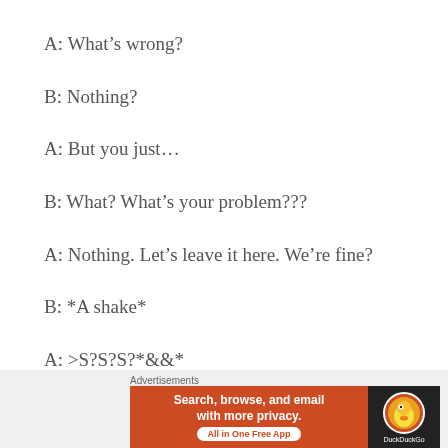A: What’s wrong?
B: Nothing?
A: But you just…
B: What? What’s your problem???
A: Nothing. Let’s leave it here. We’re fine?
B: *A shake*
A: >S?S?S?*&&*
[Figure (screenshot): DuckDuckGo advertisement banner with orange background showing 'Search, browse, and email with more privacy. All in One Free App' with DuckDuckGo logo on dark background]
Advertisements